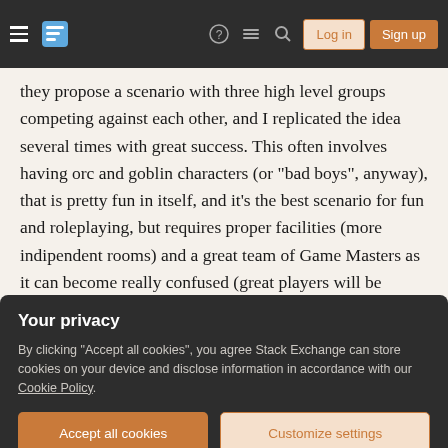Stack Exchange navigation bar with Log in and Sign up buttons
they propose a scenario with three high level groups competing against each other, and I replicated the idea several times with great success. This often involves having orc and goblin characters (or "bad boys", anyway), that is pretty fun in itself, and it's the best scenario for fun and roleplaying, but requires proper facilities (more indipendent rooms) and a great team of Game Masters as it can become really confused (great players will be required as well to avoid turning this into a mess). Again, there may be problems with some group getting "stalled" while another is completing the actions
Your privacy
By clicking "Accept all cookies", you agree Stack Exchange can store cookies on your device and disclose information in accordance with our Cookie Policy.
Accept all cookies   Customize settings
other groups to complete their actions for the specific